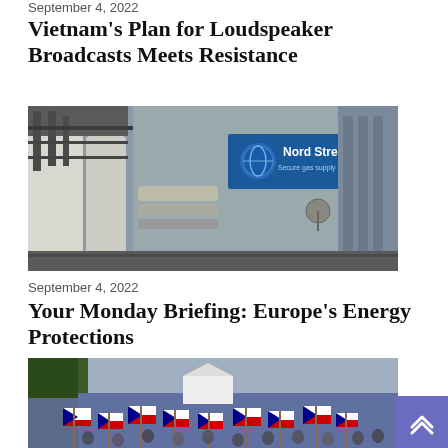September 4, 2022
Vietnam's Plan for Loudspeaker Broadcasts Meets Resistance
[Figure (photo): Industrial facility showing Nord Stream gas pipeline infrastructure with large white pipes and the Nord Stream logo visible on a blue sign]
September 4, 2022
Your Monday Briefing: Europe's Energy Protections
[Figure (photo): Large crowd of protesters gathered outdoors waving Czech Republic flags (red, white and blue tricolor)]